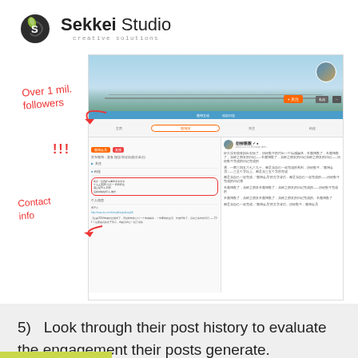[Figure (logo): Sekkei Studio logo with droplet/S icon and 'creative solutions' tagline]
[Figure (screenshot): Annotated screenshot of a Chinese Weibo influencer profile page with handwritten red annotations: 'Over 1 mil. followers!!!' pointing to follower count area, and 'Contact info' pointing to profile info section]
5)   Look through their post history to evaluate the engagement their posts generate.